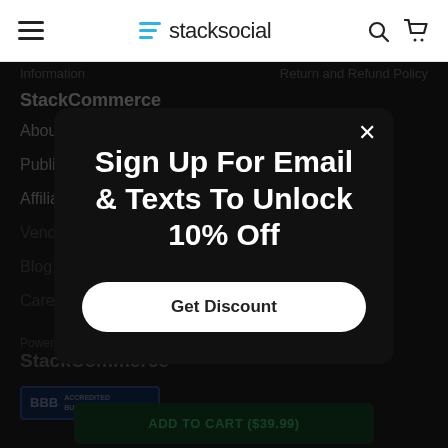stacksocial
Information
Return and Refund Policy
StackCommerce
About
Publishers
Affiliates
Vendors
Blog
Careers
Powered By
StackCommerce
[Figure (logo): BBB Accredited Business badge]
ADD TO CART ($39.99)
Sign Up For Email & Texts To Unlock 10% Off
Get Discount